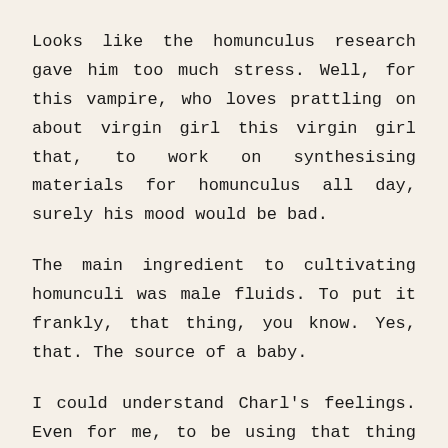Looks like the homunculus research gave him too much stress. Well, for this vampire, who loves prattling on about virgin girl this virgin girl that, to work on synthesising materials for homunculus all day, surely his mood would be bad.
The main ingredient to cultivating homunculi was male fluids. To put it frankly, that thing, you know. Yes, that. The source of a baby.
I could understand Charl's feelings. Even for me, to be using that thing from others would definitely put me in a bad mood. Ah, even if it was my own, I would not feel good. I wonder how female alchemy students feel during homunculus practical sessions...Never mind, I'm not